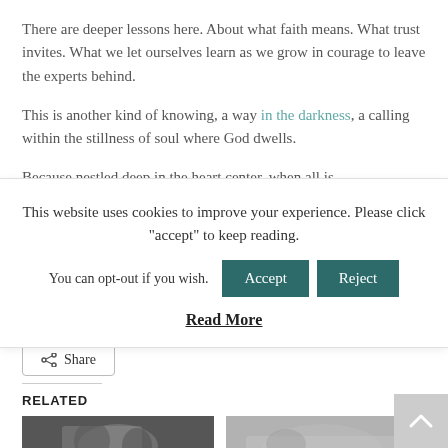There are deeper lessons here. About what faith means. What trust invites. What we let ourselves learn as we grow in courage to leave the experts behind.
This is another kind of knowing, a way in the darkness, a calling within the stillness of soul where God dwells.
Because nestled deep in the heart center, when all is
This website uses cookies to improve your experience. Please click "accept" to keep reading. You can opt-out if you wish. Accept Reject Read More
Share
RELATED